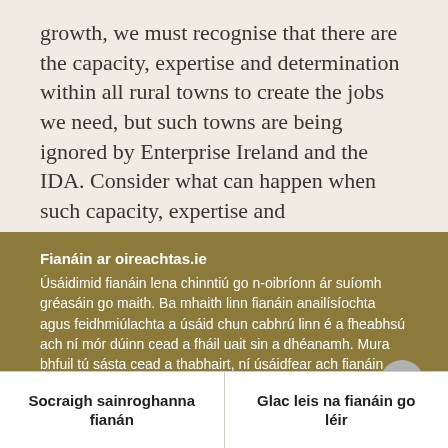growth, we must recognise that there are the capacity, expertise and determination within all rural towns to create the jobs we need, but such towns are being ignored by Enterprise Ireland and the IDA. Consider what can happen when such capacity, expertise and determination are rewarded. For example, JFC Manufacturing Limited in Tuam employs 200 people, Chanelle Pharmaceuticals
Fianáin ar oireachtas.ie
Úsáidimid fianáin lena chinntiú go n-oibríonn ár suíomh gréasáin go maith. Ba mhaith linn fianáin anailísíochta agus feidhmiúlachta a úsáid chun cabhrú linn é a fheabhsú ach ní mór dúinn cead a fháil uait sin a dhéanamh. Mura bhfuil tú sásta cead a thabhairt, ní úsáidfear ach fianáin riachtanacha. Léigh tuileadh faoinár bhfianáin
Socraigh sainroghanna fianán
Glac leis na fianáin go léir